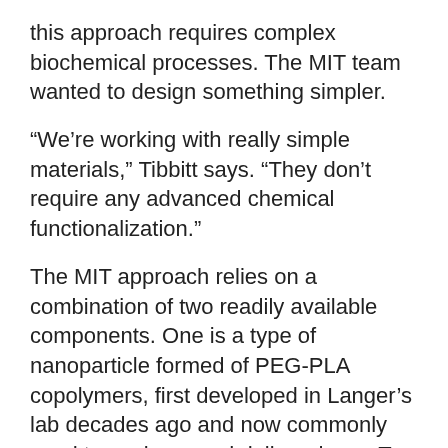this approach requires complex biochemical processes. The MIT team wanted to design something simpler.
“We’re working with really simple materials,” Tibbitt says. “They don’t require any advanced chemical functionalization.”
The MIT approach relies on a combination of two readily available components. One is a type of nanoparticle formed of PEG-PLA copolymers, first developed in Langer’s lab decades ago and now commonly used to package and deliver drugs. To form a hydrogel, the researchers mixed these particles with a polymer – in this case, cellulose.
Each polymer chain forms weak bonds with many nanoparticles, producing a loosely woven lattice of polymers and nanoparticles. Because each attachment